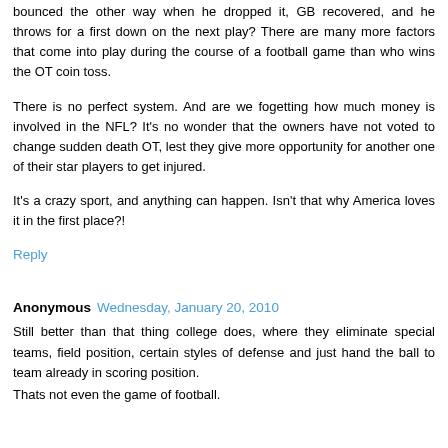bounced the other way when he dropped it, GB recovered, and he throws for a first down on the next play? There are many more factors that come into play during the course of a football game than who wins the OT coin toss.
There is no perfect system. And are we fogetting how much money is involved in the NFL? It's no wonder that the owners have not voted to change sudden death OT, lest they give more opportunity for another one of their star players to get injured.
It's a crazy sport, and anything can happen. Isn't that why America loves it in the first place?!
Reply
Anonymous Wednesday, January 20, 2010
Still better than that thing college does, where they eliminate special teams, field position, certain styles of defense and just hand the ball to team already in scoring position.
Thats not even the game of football.